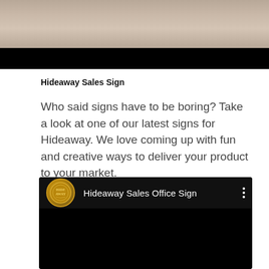[Figure (photo): Top portion of a photo showing a sandy or stone textured surface, partially cut off, with a black bar below it]
Hideaway Sales Sign
Who said signs have to be boring? Take a look at one of our latest signs for Hideaway. We love coming up with fun and creative ways to deliver your product to your market.
[Figure (screenshot): A video player screenshot showing 'Hideaway Sales Office Sign' with a circular gold logo/seal on the left and a three-dot menu icon on the right, on a black background]